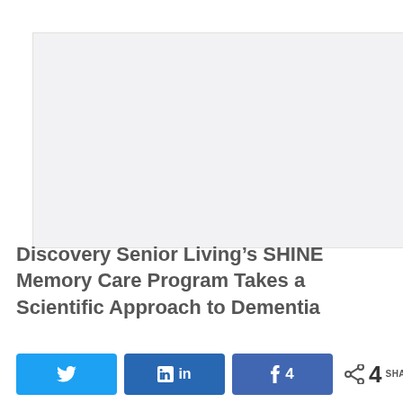[Figure (photo): Article hero image placeholder — light gray rectangular area representing a photo related to Discovery Senior Living SHINE Memory Care program]
Discovery Senior Living’s SHINE Memory Care Program Takes a Scientific Approach to Dementia
Share bar with Twitter, LinkedIn, Facebook (4 shares), and total share count of 4 SHARES